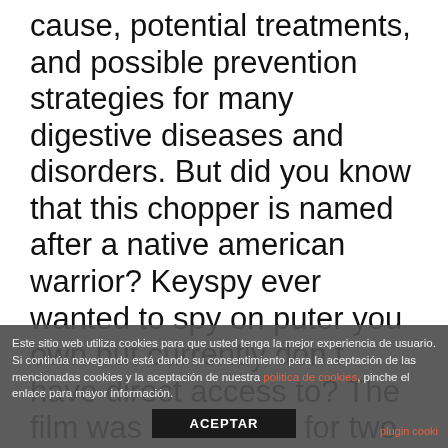cause, potential treatments, and possible prevention strategies for many digestive diseases and disorders. But did you know that this chopper is named after a native american warrior? Keyspy ever wanted to spy on puter you own but currently don t have direct access to? The film was nominated for two academy awards at the 13th academy awards ceremony: 7. Dracula is the indisputable leader of monsters and ironically his strength, dominance, charisma, and over-controlling nature make where to meet nigerian singles in canada him an excellent hotel manager. As the sac
Este sitio web utiliza cookies para que usted tenga la mejor experiencia de usuario. Si continúa navegando está dando su consentimiento para la aceptación de las mencionadas cookies y la aceptación de nuestra politica de cookies, pinche el enlace para mayor información.
ACEPTAR
plugin cooki